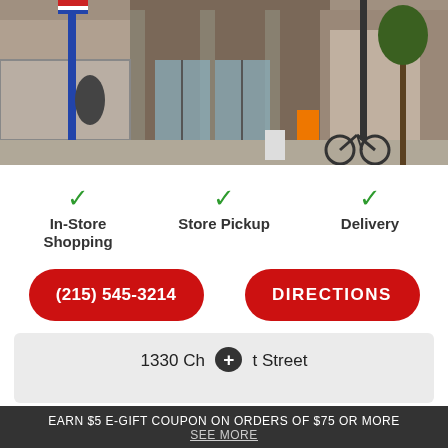[Figure (photo): Exterior street view photo of a retail store building with glass doors, stone facade, and a street lamp with a flag in the foreground. A bicycle is parked outside.]
✓ In-Store Shopping
✓ Store Pickup
✓ Delivery
(215) 545-3214
DIRECTIONS
1330 Ch...t Street
EARN $5 E-GIFT COUPON ON ORDERS OF $75 OR MORE
SEE MORE